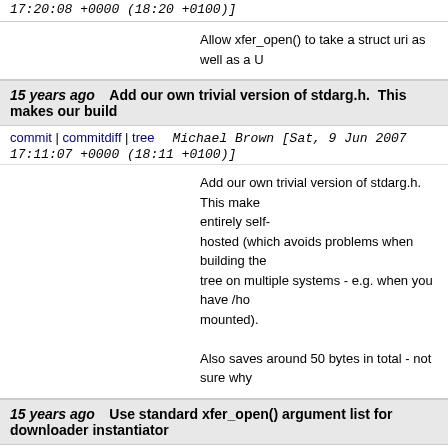17:20:08 +0000 (18:20 +0100)]
Allow xfer_open() to take a struct uri as well as a U
15 years ago   Add our own trivial version of stdarg.h.   This makes our build
commit | commitdiff | tree   Michael Brown [Sat, 9 Jun 2007 17:11:07 +0000 (18:11 +0100)]
Add our own trivial version of stdarg.h.  This makes entirely self-hosted (which avoids problems when building the tree on multiple systems - e.g. when you have /ho mounted).  Also saves around 50 bytes in total - not sure why
15 years ago   Use standard xfer_open() argument list for downloader instantiator
commit | commitdiff | tree   Michael Brown [Sat, 9 Jun 2007 16:42:46 +0000 (17:42 +0100)]
Use standard xfer_open() argument list for downl
15 years ago   Add reference counting to register/unregister procedure.